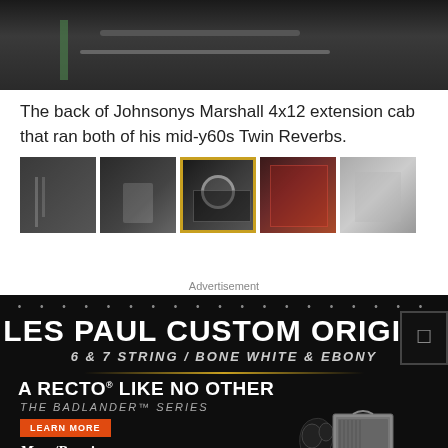[Figure (photo): Top portion of a dark image showing the back of a Marshall 4x12 extension cabinet]
The back of Johnsonys Marshall 4x12 extension cab that ran both of his mid-y60s Twin Reverbs.
[Figure (photo): Row of five thumbnail images showing various guitar equipment. The middle thumbnail is highlighted with a gold/yellow border.]
Advertisement
[Figure (illustration): Advertisement for Gibson Les Paul Custom Origins and Mesa/Boogie Badlander amp series on black background. Text reads: LES PAUL CUSTOM ORIGINS / 6 & 7 STRING / BONE WHITE & EBONY / A RECTO LIKE NO OTHER / THE BADLANDER SERIES / LEARN MORE / MESA/BOOGIE]